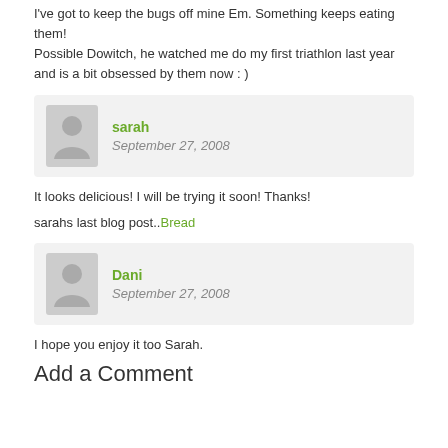I've got to keep the bugs off mine Em. Something keeps eating them!
Possible Dowitch, he watched me do my first triathlon last year and is a bit obsessed by them now : )
sarah — September 27, 2008
It looks delicious! I will be trying it soon! Thanks!
sarahs last blog post..Bread
Dani — September 27, 2008
I hope you enjoy it too Sarah.
Add a Comment